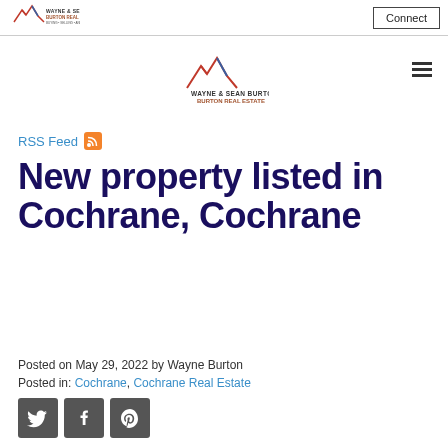Wayne & Sean Burton Burton Real Estate — Connect
[Figure (logo): Wayne & Sean Burton Burton Real Estate logo (center, mobile nav)]
RSS Feed
New property listed in Cochrane, Cochrane
Posted on May 29, 2022 by Wayne Burton
Posted in: Cochrane, Cochrane Real Estate
[Figure (other): Social share buttons: Twitter, Facebook, Pinterest]